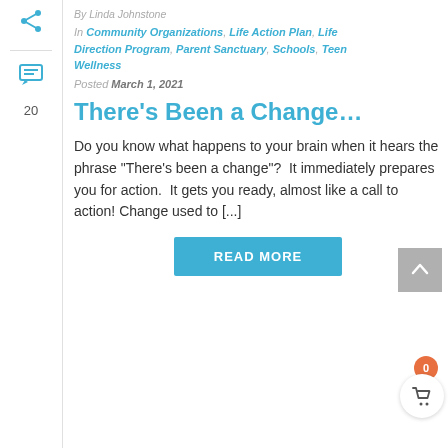By Linda Johnstone
In Community Organizations, Life Action Plan, Life Direction Program, Parent Sanctuary, Schools, Teen Wellness
Posted March 1, 2021
There's Been a Change…
Do you know what happens to your brain when it hears the phrase "There's been a change"?  It immediately prepares you for action.  It gets you ready, almost like a call to action!  Change used to [...]
READ MORE